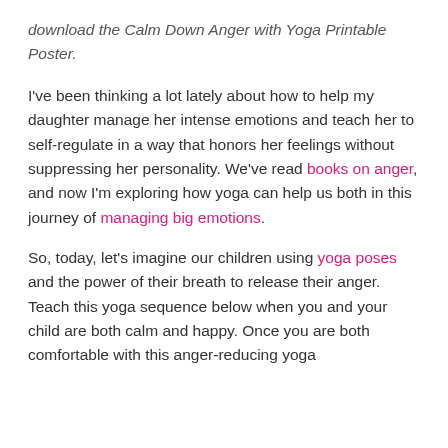download the Calm Down Anger with Yoga Printable Poster.
I've been thinking a lot lately about how to help my daughter manage her intense emotions and teach her to self-regulate in a way that honors her feelings without suppressing her personality. We've read books on anger, and now I'm exploring how yoga can help us both in this journey of managing big emotions.
So, today, let's imagine our children using yoga poses and the power of their breath to release their anger. Teach this yoga sequence below when you and your child are both calm and happy. Once you are both comfortable with this anger-reducing yoga